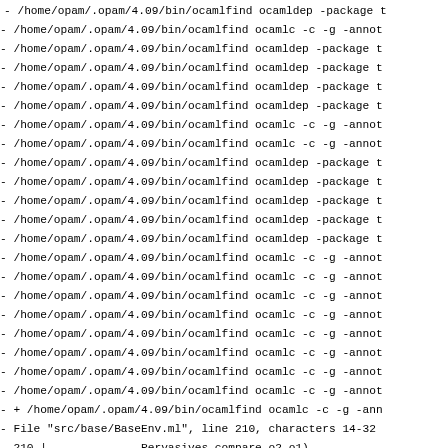- /home/opam/.opam/4.09/bin/ocamlfind ocamldep -package t
- /home/opam/.opam/4.09/bin/ocamlfind ocamlc -c -g -annot
- /home/opam/.opam/4.09/bin/ocamlfind ocamldep -package t
- /home/opam/.opam/4.09/bin/ocamlfind ocamldep -package t
- /home/opam/.opam/4.09/bin/ocamlfind ocamldep -package t
- /home/opam/.opam/4.09/bin/ocamlfind ocamldep -package t
- /home/opam/.opam/4.09/bin/ocamlfind ocamlc -c -g -annot
- /home/opam/.opam/4.09/bin/ocamlfind ocamlc -c -g -annot
- /home/opam/.opam/4.09/bin/ocamlfind ocamldep -package t
- /home/opam/.opam/4.09/bin/ocamlfind ocamldep -package t
- /home/opam/.opam/4.09/bin/ocamlfind ocamldep -package t
- /home/opam/.opam/4.09/bin/ocamlfind ocamldep -package t
- /home/opam/.opam/4.09/bin/ocamlfind ocamldep -package t
- /home/opam/.opam/4.09/bin/ocamlfind ocamlc -c -g -annot
- /home/opam/.opam/4.09/bin/ocamlfind ocamlc -c -g -annot
- /home/opam/.opam/4.09/bin/ocamlfind ocamlc -c -g -annot
- /home/opam/.opam/4.09/bin/ocamlfind ocamlc -c -g -annot
- /home/opam/.opam/4.09/bin/ocamlfind ocamlc -c -g -annot
- /home/opam/.opam/4.09/bin/ocamlfind ocamlc -c -g -annot
- /home/opam/.opam/4.09/bin/ocamlfind ocamlc -c -g -annot
- /home/opam/.opam/4.09/bin/ocamlfind ocamlc -c -g -annot
- + /home/opam/.opam/4.09/bin/ocamlfind ocamlc -c -g -ann
- File "src/base/BaseEnv.ml", line 210, characters 14-32
- 210 |              Pervasives.compare o2 o1)
-                 ^^^^^^^^^^^^^^^^^
- Alert deprecated: module Stdlib.Pervasives
- Use Stdlib instead.
-
- If you need to stay compatible with OCaml < 4.07, you c
- stdlib-shims library: https://github.com/ocaml/stdlib-s
- /home/opam/.opam/4.09/bin/ocamlfind ocamlc -c -g -annot